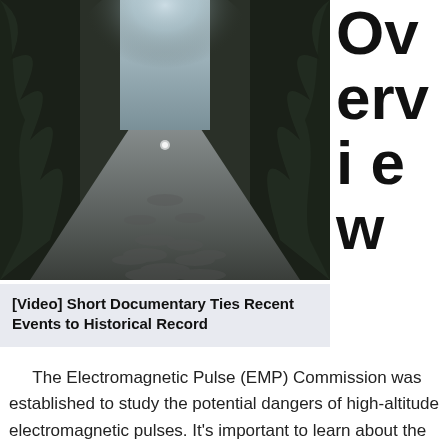[Figure (photo): A dark atmospheric photo of a cobblestone path/alley lined with overgrown ivy-covered walls or trees, with misty light at the end of the path.]
Overview
[Video] Short Documentary Ties Recent Events to Historical Record
The Electromagnetic Pulse (EMP) Commission was established to study the potential dangers of high-altitude electromagnetic pulses. It's important to learn about the impact of these waves on the environment and the health of humans. A few decades ago, the EMP Commission published a report assessing the impact of a high-altitude electromagnetic pulse on